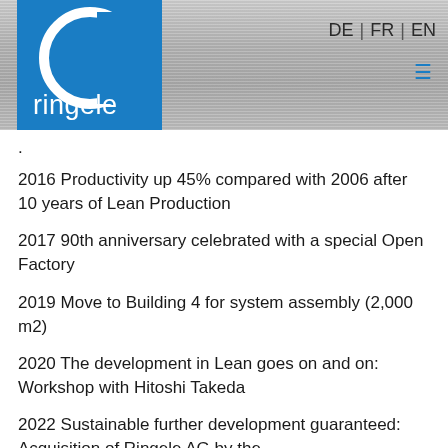[Figure (logo): Ringele company logo: white circle outline with letter C shape on blue background, with 'ringele' text in white]
DE | FR | EN
.
2016 Productivity up 45% compared with 2006 after 10 years of Lean Production
2017 90th anniversary celebrated with a special Open Factory
2019 Move to Building 4 for system assembly (2,000 m2)
2020 The development in Lean goes on and on: Workshop with Hitoshi Takeda
2022 Sustainable further development guaranteed: Acquisition of Ringele AG by the